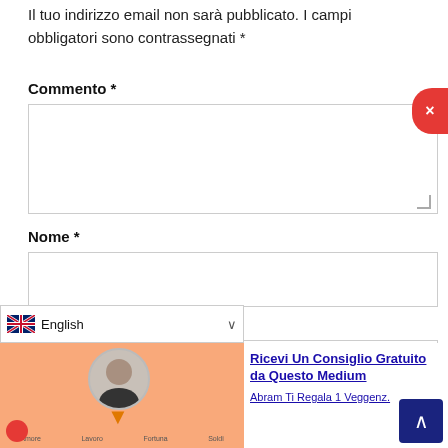Il tuo indirizzo email non sarà pubblicato. I campi obbligatori sono contrassegnati *
Commento *
Nome *
Email *
[Figure (screenshot): Web form with fields for Commento, Nome, and Email, plus a language selector and an advertisement banner for 'Ricevi Un Consiglio Gratuito da Questo Medium' with an image of a man and the text 'Abram Ti Regala 1 Veggenz.']